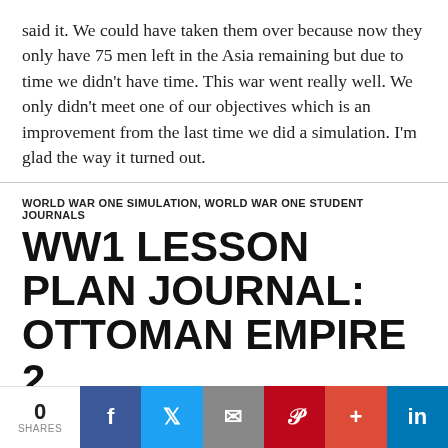said it. We could have taken them over because now they only have 75 men left in the Asia remaining but due to time we didn't have time. This war went really well. We only didn't meet one of our objectives which is an improvement from the last time we did a simulation. I'm glad the way it turned out.
WORLD WAR ONE SIMULATION, WORLD WAR ONE STUDENT JOURNALS
WW1 LESSON PLAN JOURNAL: OTTOMAN EMPIRE 2
APRIL 10, 2014
0 SHARES